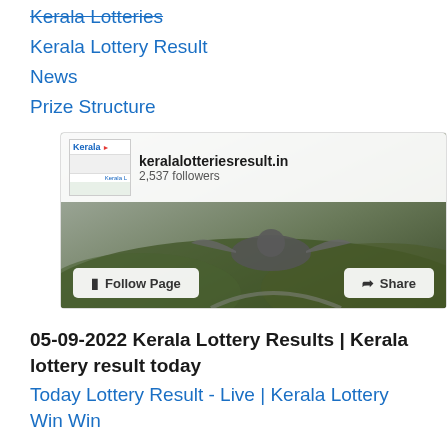Kerala Lotteries
Kerala Lottery Result
News
Prize Structure
[Figure (screenshot): Facebook page widget for keralalotteriesresult.in showing 2,537 followers with Follow Page and Share buttons, background shows a large eagle sculpture on a hilltop landscape]
05-09-2022 Kerala Lottery Results | Kerala lottery result today
Today Lottery Result - Live | Kerala Lottery Win Win